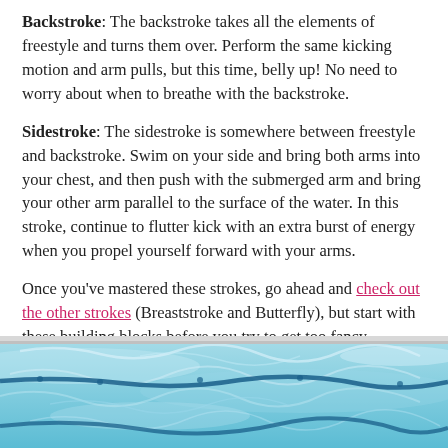Backstroke: The backstroke takes all the elements of freestyle and turns them over. Perform the same kicking motion and arm pulls, but this time, belly up! No need to worry about when to breathe with the backstroke.
Sidestroke: The sidestroke is somewhere between freestyle and backstroke. Swim on your side and bring both arms into your chest, and then push with the submerged arm and bring your other arm parallel to the surface of the water. In this stroke, continue to flutter kick with an extra burst of energy when you propel yourself forward with your arms.
Once you've mastered these strokes, go ahead and check out the other strokes (Breaststroke and Butterfly), but start with these building blocks before you try to get too fancy.
[Figure (photo): A swimming pool with blue water and lane dividers, viewed from a close angle showing the water surface and lane lines.]